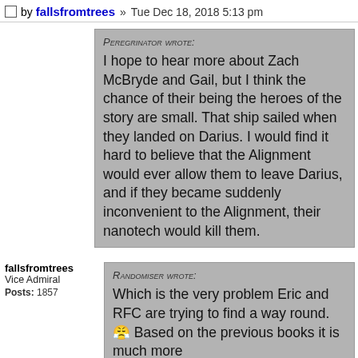□ by fallsfromtrees » Tue Dec 18, 2018 5:13 pm
PEREGRINATOR WROTE:
I hope to hear more about Zach McBryde and Gail, but I think the chance of their being the heroes of the story are small. That ship sailed when they landed on Darius. I would find it hard to believe that the Alignment would ever allow them to leave Darius, and if they became suddenly inconvenient to the Alignment, their nanotech would kill them.
fallsfromtrees
Vice Admiral
Posts: 1857
RANDOMISER WROTE:
Which is the very problem Eric and RFC are trying to find a way round. 😤 Based on the previous books it is much more